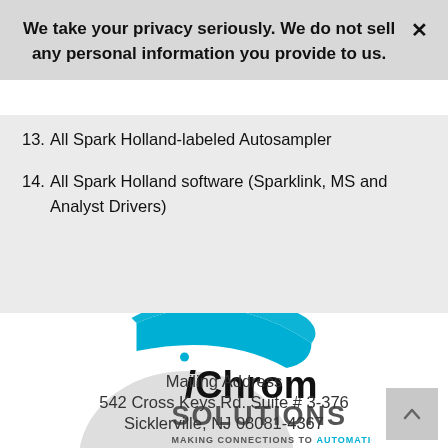We take your privacy seriously. We do not sell any personal information you provide to us.
13. All Spark Holland-labeled Autosampler
14. All Spark Holland software (Sparklink, MS and Analyst Drivers)
[Figure (logo): iChrom Solutions logo with arc graphic and tagline 'MAKING CONNECTIONS TO AUTOMATION']
Mailing Address
542 Cross Keys Rd. Suite # 3-376
Sicklerville, NJ 08081-4367